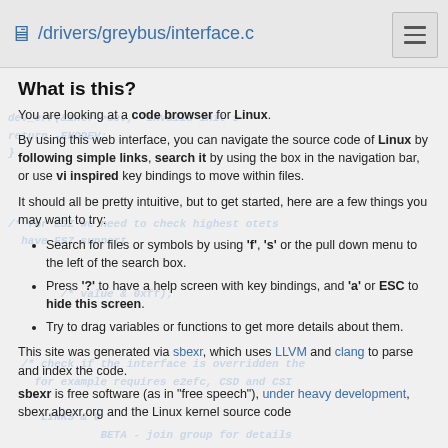/drivers/greybus/interface.c
What is this?
You are looking at a code browser for Linux.
By using this web interface, you can navigate the source code of Linux by following simple links, search it by using the box in the navigation bar, or use vi inspired key bindings to move within files.
It should all be pretty intuitive, but to get started, here are a few things you may want to try:
Search for files or symbols by using 'f', 's' or the pull down menu to the left of the search box.
Press '?' to have a help screen with key bindings, and 'a' or ESC to hide this screen.
Try to drag variables or functions to get more details about them.
This site was generated via sbexr, which uses LLVM and clang to parse and index the code.
sbexr is free software (as in "free speech"), under heavy development, sbexr.abexr.org and the Linux kernel source code...